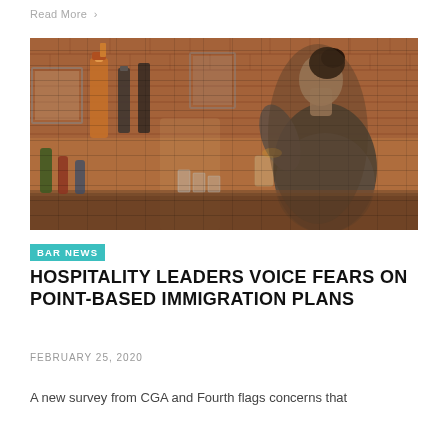Read More >
[Figure (photo): A person (seen from behind) with dark hair in a bun, wearing a plaid shirt, working behind a bar counter with copper beer taps, glasses, and a brick wall background.]
BAR NEWS
HOSPITALITY LEADERS VOICE FEARS ON POINT-BASED IMMIGRATION PLANS
FEBRUARY 25, 2020
A new survey from CGA and Fourth flags concerns that